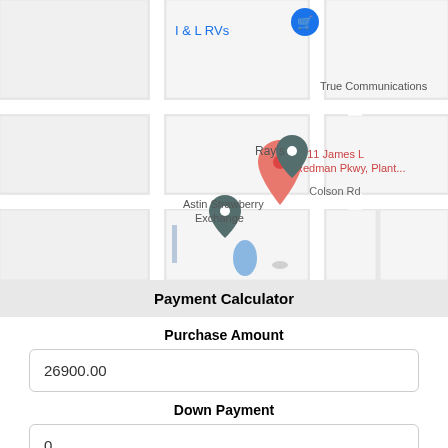[Figure (map): Google Maps screenshot showing streets including Colson Rd, businesses including I & L RVs, True Communications, Ray's, Astin Strawberry Exchange, and a red location pin at 4511 James L Redman Pkwy, Plant... with map location markers.]
Payment Calculator
Purchase Amount
26900.00
Down Payment
0